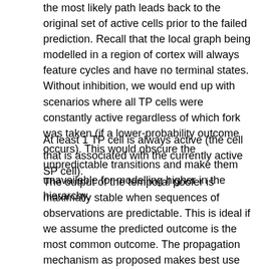the most likely path leads back to the original set of active cells prior to the failed prediction. Recall that the local graph being modelled in a region of cortex will always feature cycles and have no terminal states. Without inhibition, we would end up with scenarios where all TP cells were constantly active regardless of which fork was taken (if a lower-probability outcome occurs). This would obscure the unpredictable transitions and make them unavailable for modelling higher in the hierarchy.
At least 1 TP cell is always active (the cell that is associated with the currently active SP cell).
The output of the temporal pooler is maximally stable when sequences of observations are predictable. This is ideal if we assume the predicted outcome is the most common outcome. The propagation mechanism as proposed makes best use of predictable transitions - sequences of arbitrary length can be replaced with a constant output, if the system is sufficiently predictable.
Note that this method can only guarantee to simplify the observed problem in combination with state-splitting. The latter is required to build more and longer deterministic